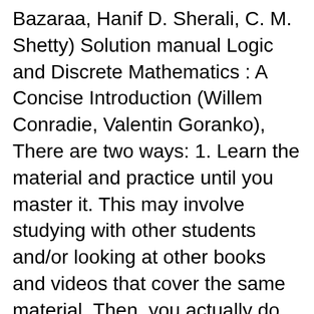Bazaraa, Hanif D. Sherali, C. M. Shetty) Solution manual Logic and Discrete Mathematics : A Concise Introduction (Willem Conradie, Valentin Goranko), There are two ways: 1. Learn the material and practice until you master it. This may involve studying with other students and/or looking at other books and videos that cover the same material. Then, you actually do the exercises and double check y....
Solution Manual for Discrete Mathematics and Its Applications – 5th and 7th Edition Author(s): Kenneth H. Rosen This product include two files. One is for 5th edition and another is for 7th edition. File Specification for 7th